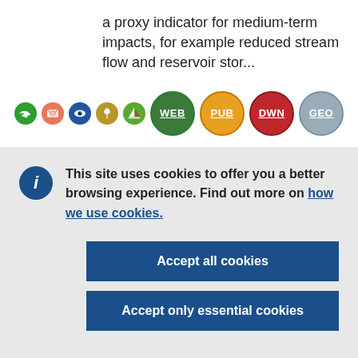a proxy indicator for medium-term impacts, for example reduced stream flow and reservoir stor...
[Figure (infographic): Row of colorful circular icons: green arrow icon, red/orange email icon, blue eye icon, olive/brown grain icon, green sailboat icon, green WEB badge, orange PUB badge, red DWN badge, grey GEO badge]
This site uses cookies to offer you a better browsing experience. Find out more on how we use cookies.
Accept all cookies
Accept only essential cookies